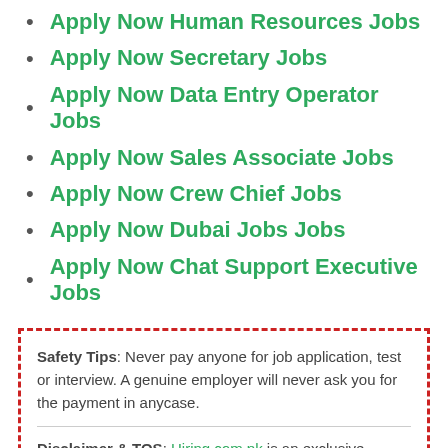Apply Now Human Resources Jobs
Apply Now Secretary Jobs
Apply Now Data Entry Operator Jobs
Apply Now Sales Associate Jobs
Apply Now Crew Chief Jobs
Apply Now Dubai Jobs Jobs
Apply Now Chat Support Executive Jobs
Safety Tips: Never pay anyone for job application, test or interview. A genuine employer will never ask you for the payment in anycase.
Disclaimer & TOS: Hiring.com.pk is an exclusive